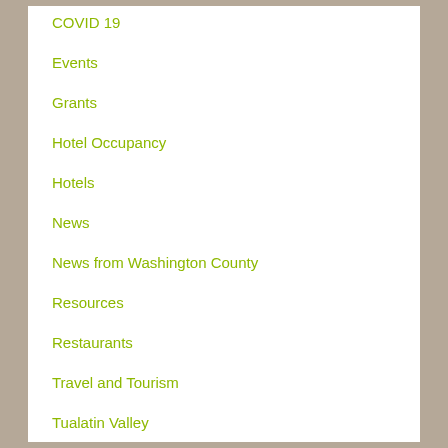COVID 19
Events
Grants
Hotel Occupancy
Hotels
News
News from Washington County
Resources
Restaurants
Travel and Tourism
Tualatin Valley
vaccine mandate
WCVA Update